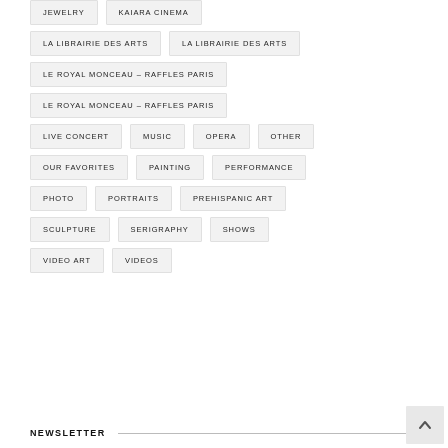JEWELRY
KAIARA CINEMA
LA LIBRAIRIE DES ARTS
LA LIBRAIRIE DES ARTS
LE ROYAL MONCEAU – RAFFLES PARIS
LE ROYAL MONCEAU – RAFFLES PARIS
LIVE CONCERT
MUSIC
OPERA
OTHER
OUR FAVORITES
PAINTING
PERFORMANCE
PHOTO
PORTRAITS
PREHISPANIC ART
SCULPTURE
SERIGRAPHY
SHOWS
VIDEO ART
VIDEOS
NEWSLETTER